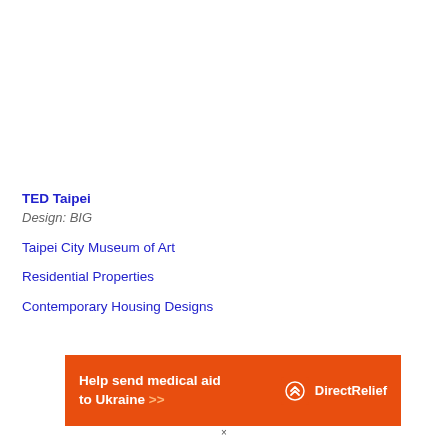TED Taipei
Design: BIG
Taipei City Museum of Art
Residential Properties
Contemporary Housing Designs
[Figure (infographic): Orange advertisement banner for Direct Relief reading 'Help send medical aid to Ukraine >>' with Direct Relief logo on the right]